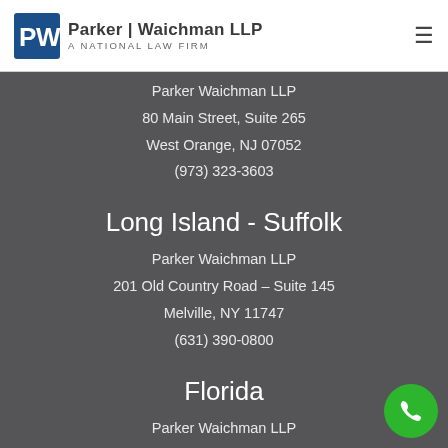Parker Waichman LLP — A National Law Firm
Parker Waichman LLP
80 Main Street, Suite 265
West Orange, NJ 07052
(973) 323-3603
Long Island - Suffolk
Parker Waichman LLP
201 Old Country Road – Suite 145
Melville, NY 11747
(631) 390-0800
Florida
Parker Waichman LLP
27000 Riverview Center Blvd and Suite 100